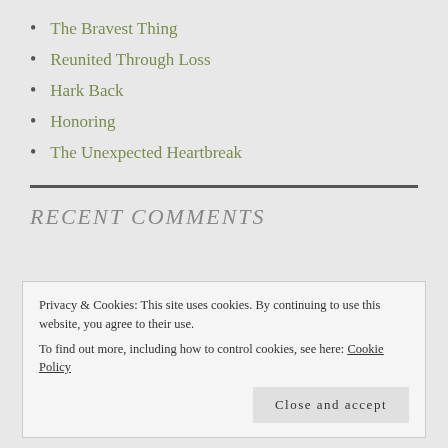The Bravest Thing
Reunited Through Loss
Hark Back
Honoring
The Unexpected Heartbreak
RECENT COMMENTS
Privacy & Cookies: This site uses cookies. By continuing to use this website, you agree to their use.
To find out more, including how to control cookies, see here: Cookie Policy